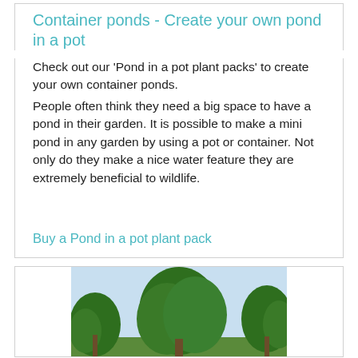Container ponds - Create your own pond in a pot
Check out our 'Pond in a pot plant packs' to create your own container ponds.
People often think they need a big space to have a pond in their garden. It is possible to make a mini pond in any garden by using a pot or container. Not only do they make a nice water feature they are extremely beneficial to wildlife.
Buy a Pond in a pot plant pack
[Figure (photo): Photo of trees and blue sky, partial view of a pond or garden scene]